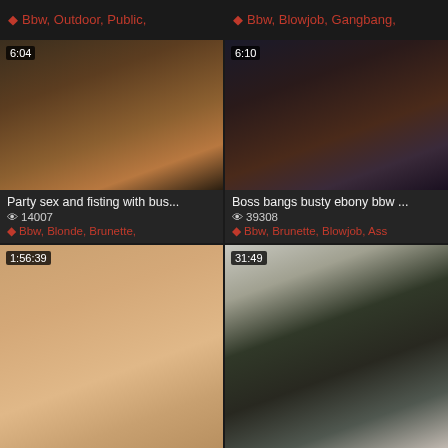Bbw, Outdoor, Public,
Bbw, Blowjob, Gangbang,
[Figure (photo): Video thumbnail showing indoor party scene, duration 6:04]
[Figure (photo): Video thumbnail showing two people, duration 6:10]
Party sex and fisting with bus...
14007 views
Bbw, Blonde, Brunette,
Boss bangs busty ebony bbw ...
39308 views
Bbw, Brunette, Blowjob, Ass
[Figure (photo): Video thumbnail close-up, duration 1:56:39]
[Figure (photo): Video thumbnail showing two people, duration 31:49]